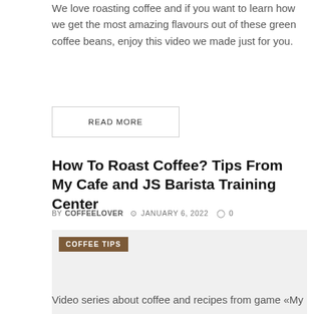We love roasting coffee and if you want to learn how we get the most amazing flavours out of these green coffee beans, enjoy this video we made just for you.
READ MORE
How To Roast Coffee? Tips From My Cafe and JS Barista Training Center
BY COFFEELOVER  © JANUARY 6, 2022  ◯ 0
[Figure (other): Light gray image placeholder box with a brown 'COFFEE TIPS' badge in the upper left corner.]
Video series about coffee and recipes from game «My Coffee…